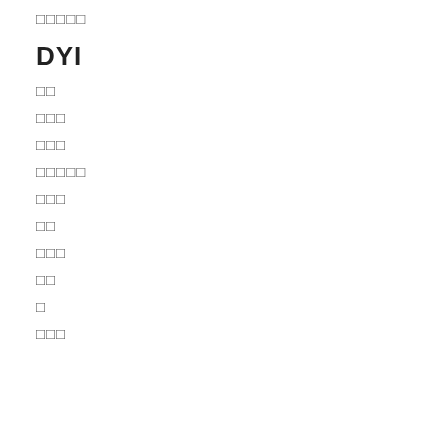□□□□□
DYI
□□
□□□
□□□
□□□□□
□□□
□□
□□□
□□
□
□□□